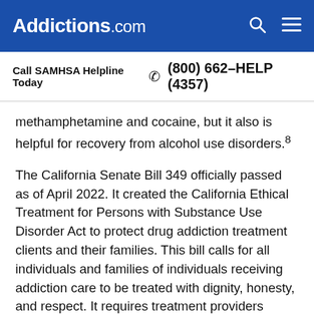Addictions.com
Call SAMHSA Helpline Today  (800) 662-HELP (4357)
methamphetamine and cocaine, but it also is helpful for recovery from alcohol use disorders.8
The California Senate Bill 349 officially passed as of April 2022. It created the California Ethical Treatment for Persons with Substance Use Disorder Act to protect drug addiction treatment clients and their families. This bill calls for all individuals and families of individuals receiving addiction care to be treated with dignity, honesty, and respect. It requires treatment providers doing business in the state to adopt a client bill of rights for persons receiving treatment for substance use disorder, as specified, and to make the bill of rights available to all clients and prospective